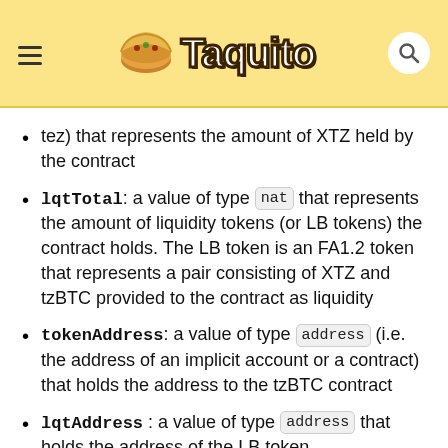Taquito
tez) that represents the amount of XTZ held by the contract
lqtTotal: a value of type nat that represents the amount of liquidity tokens (or LB tokens) the contract holds. The LB token is an FA1.2 token that represents a pair consisting of XTZ and tzBTC provided to the contract as liquidity
tokenAddress: a value of type address (i.e. the address of an implicit account or a contract) that holds the address to the tzBTC contract
lqtAddress : a value of type address that holds the address of the LB token